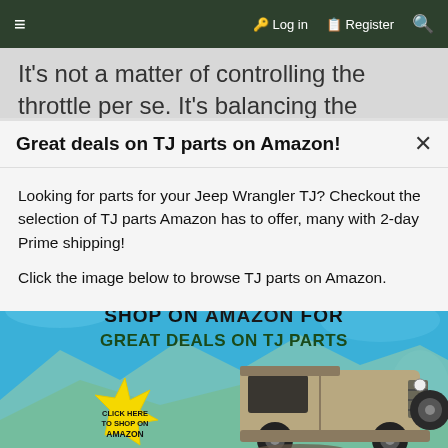≡   🔑 Log in   🗒 Register   🔍
It's not a matter of controlling the throttle per se. It's balancing the throttle and the clutch while trying to move the Jeep slower than what 1st gear at idle with the clutch completely engaged does. Going slow
Great deals on TJ parts on Amazon!
Looking for parts for your Jeep Wrangler TJ? Checkout the selection of TJ parts Amazon has to offer, many with 2-day Prime shipping!
Click the image below to browse TJ parts on Amazon.
[Figure (illustration): Advertisement banner: SHOP ON AMAZON FOR GREAT DEALS ON TJ PARTS. Shows a cartoon Jeep Wrangler TJ with a yellow starburst callout saying CLICK HERE TO SHOP ON AMAZON, against a blue background.]